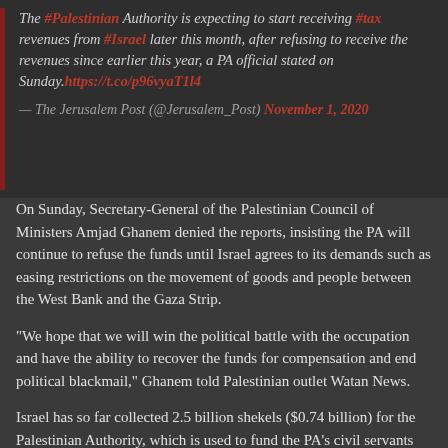The #Palestinian Authority is expecting to start receiving #tax revenues from #Israel later this month, after refusing to receive the revenues since earlier this year, a PA official stated on Sunday. https://t.co/p96vyaT1l4
— The Jerusalem Post (@Jerusalem_Post) November 1, 2020
On Sunday, Secretary-General of the Palestinian Council of Ministers Amjad Ghanem denied the reports, insisting the PA will continue to refuse the funds until Israel agrees to its demands such as easing restrictions on the movement of goods and people between the West Bank and the Gaza Strip.
“We hope that we will win the political battle with the occupation and have the ability to recover the funds for compensation and end political blackmail,” Ghanem told Palestinian outlet Watan News.
Israel has so far collected 2.5 billion shekels ($0.74 billion) for the Palestinian Authority, which is used to fund the PA’s civil servants and West Bank officials.